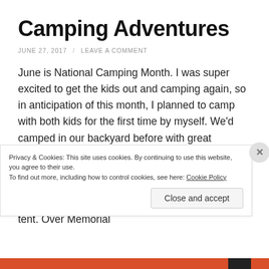Camping Adventures
JUNE 27, 2017 / LEAVE A COMMENT
June is National Camping Month. I was super excited to get the kids out and camping again, so in anticipation of this month, I planned to camp with both kids for the first time by myself. We'd camped in our backyard before with great success (Bax loved it and the baby was still able to sleep in her crib inside). With the little one a little more mobile, I thought I was ready to take the next step and sleep with both of them in the tent. Over Memorial
Privacy & Cookies: This site uses cookies. By continuing to use this website, you agree to their use.
To find out more, including how to control cookies, see here: Cookie Policy
Close and accept